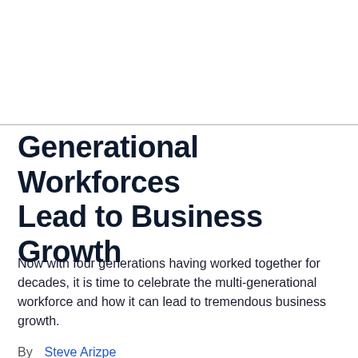Generational Workforces Lead to Business Growth
Now with four generations having worked together for decades, it is time to celebrate the multi-generational workforce and how it can lead to tremendous business growth.
By  Steve Arizpe
Opinions expressed by Entrepreneur contributors are their own.